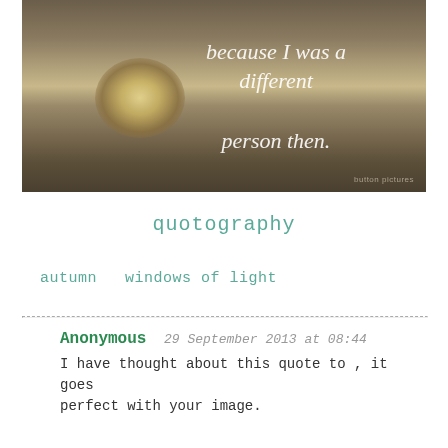[Figure (photo): Sepia-toned landscape photo of a beach or shoreline with sunlight reflecting on water. Overlaid handwritten-style italic white text reading: 'because I was a different person then.' Watermark reads 'button pictures' in bottom right.]
quotography
autumn   windows of light
Anonymous  29 September 2013 at 08:44
I have thought about this quote to , it goes perfect with your image.